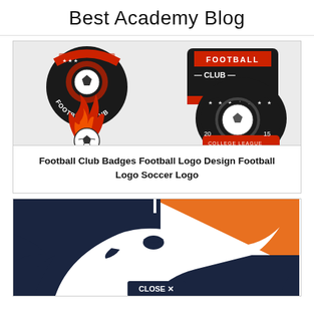Best Academy Blog
[Figure (illustration): Football club badges and logos: circular football club badge in black/red, football club shield badge in black/red, flaming soccer ball logo in red/black, college league badge in black/red with soccer ball and stars]
Football Club Badges Football Logo Design Football Logo Soccer Logo
[Figure (illustration): Eagle or bird mascot logo in dark navy and orange colors, with a 'CLOSE X' button overlay at the bottom center]